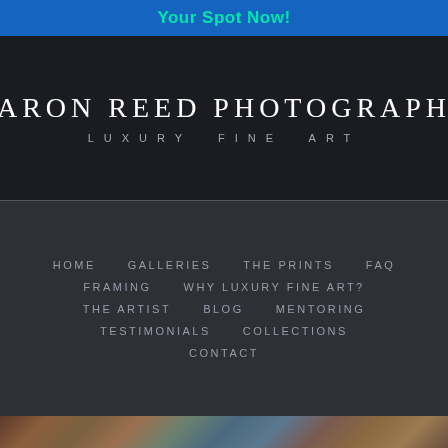Your Spot Now!
AARON REED PHOTOGRAPHY
LUXURY FINE ART
HOME
GALLERIES
THE PRINTS
FAQ
FRAMING
WHY LUXURY FINE ART?
THE ARTIST
BLOG
MENTORING
TESTIMONIALS
COLLECTIONS
CONTACT
[Figure (photo): Aerial or close-up nature photograph showing colorful rock formations or canyon terrain with earth tones of red, brown, teal, and blue]